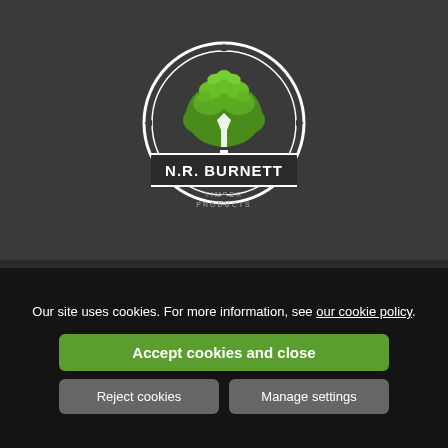[Figure (logo): N.R. Burnett Timber Products circular badge logo with green tree illustration on dark background]
Our site uses cookies. For more information, see our cookie policy.
Accept cookies and close
Reject cookies
Manage settings